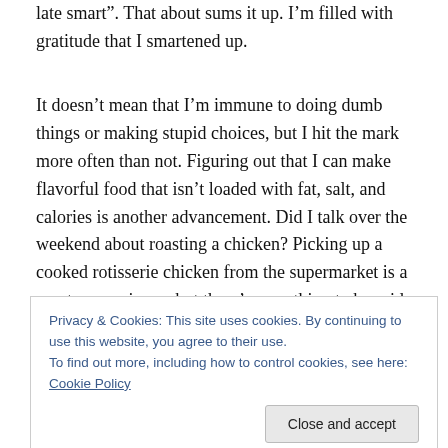late smart". That about sums it up. I’m filled with gratitude that I smartened up.
It doesn’t mean that I’m immune to doing dumb things or making stupid choices, but I hit the mark more often than not. Figuring out that I can make flavorful food that isn’t loaded with fat, salt, and calories is another advancement. Did I talk over the weekend about roasting a chicken? Picking up a cooked rotisserie chicken from the supermarket is a great convenience, but there’s something to be said about roasting your own when you have time.
Privacy & Cookies: This site uses cookies. By continuing to use this website, you agree to their use.
To find out more, including how to control cookies, see here: Cookie Policy
Sometimes I just muse about different ingredients, adding